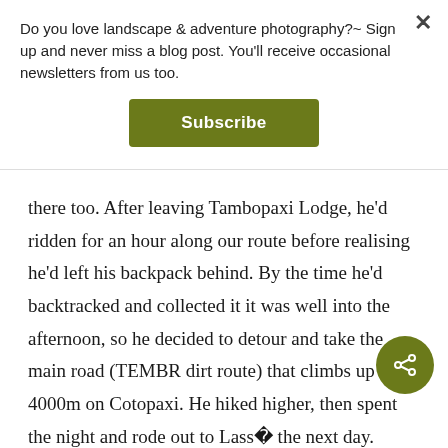Do you love landscape & adventure photography?~ Sign up and never miss a blog post. You'll receive occasional newsletters from us too.
Subscribe
there too. After leaving Tambopaxi Lodge, he'd ridden for an hour along our route before realising he'd left his backpack behind. By the time he'd backtracked and collected it it was well into the afternoon, so he decided to detour and take the main road (TEMBR dirt route) that climbs up to 4000m on Cotopaxi. He hiked higher, then spent the night and rode out to Lasse the next day.